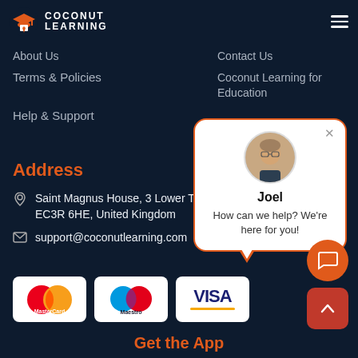[Figure (logo): Coconut Learning logo with graduation cap icon and text COCONUT LEARNING]
About Us
Contact Us
Terms & Policies
Coconut Learning for Education
Help & Support
Address
Saint Magnus House, 3 Lower Thames St, Bridge, London EC3R 6HE, United Kingdom
support@coconutlearning.com
[Figure (other): Chat popup with Joel avatar photo, name Joel, message: How can we help? We're here for you!]
[Figure (other): MasterCard, Maestro, and VISA payment badge logos]
Get the App